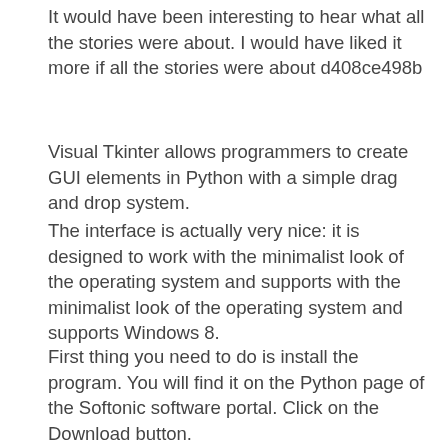It would have been interesting to hear what all the stories were about. I would have liked it more if all the stories were about d408ce498b
Visual Tkinter allows programmers to create GUI elements in Python with a simple drag and drop system.
The interface is actually very nice: it is designed to work with the minimalist look of the operating system and supports with the minimalist look of the operating system and supports Windows 8.
First thing you need to do is install the program. You will find it on the Python page of the Softonic software portal. Click on the Download button.
You will need to enter the location where the program is stored, accept the license agreement and then click on the Continue button.
After the installation has been finished, you will find the program...